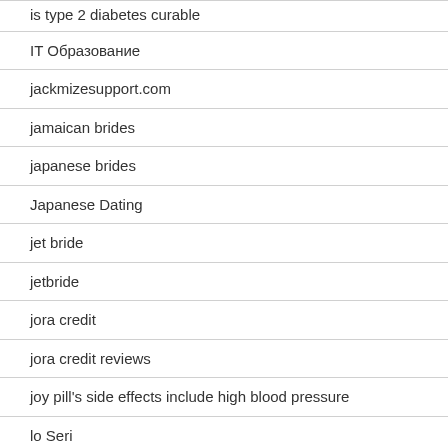is type 2 diabetes curable
IT Образование
jackmizesupport.com
jamaican brides
japanese brides
Japanese Dating
jet bride
jetbride
jora credit
jora credit reviews
joy pill's side effects include high blood pressure
lo Seri...